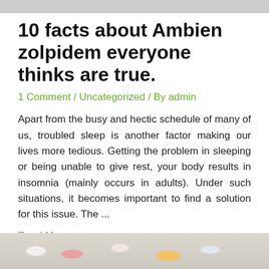[Figure (photo): Top image strip, partially visible at top of page]
10 facts about Ambien zolpidem everyone thinks are true.
1 Comment / Uncategorized / By admin
Apart from the busy and hectic schedule of many of us, troubled sleep is another factor making our lives more tedious. Getting the problem in sleeping or being unable to give rest, your body results in insomnia (mainly occurs in adults). Under such situations, it becomes important to find a solution for this issue. The ...
Read More »
[Figure (other): Green WhatsApp chat button with white text 'chat with WhatsApp']
[Figure (photo): Bottom image strip showing pills and medication partially visible]